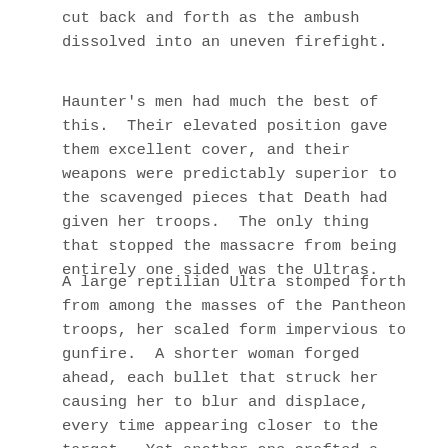cut back and forth as the ambush dissolved into an uneven firefight.
Haunter's men had much the best of this.  Their elevated position gave them excellent cover, and their weapons were predictably superior to the scavenged pieces that Death had given her troops.  The only thing that stopped the massacre from being entirely one sided was the Ultras.
A large reptilian Ultra stomped forth from among the masses of the Pantheon troops, her scaled form impervious to gunfire.  A shorter woman forged ahead, each bullet that struck her causing her to blur and displace, every time appearing closer to the target.  Yet another one crafted a rolling barrier of light, which deflected every shot aimed her way.